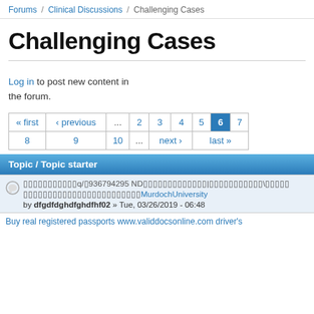Forums / Clinical Discussions / Challenging Cases
Challenging Cases
Log in to post new content in the forum.
| « first | ‹ previous | ... | 2 | 3 | 4 | 5 | 6 | 7 |
| --- | --- | --- | --- | --- | --- | --- | --- | --- |
| 8 | 9 | 10 | ... | next › | last » |
Topic / Topic starter
q/936794295 ND MurdochUniversity by dfgdfdghdfghdfhf02 » Tue, 03/26/2019 - 06:48
Buy real registered passports www.validdocsonline.com driver's